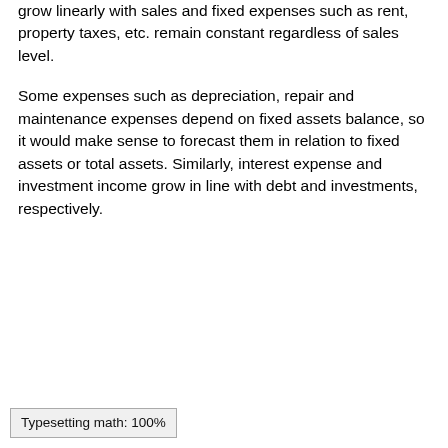grow linearly with sales and fixed expenses such as rent, property taxes, etc. remain constant regardless of sales level.
Some expenses such as depreciation, repair and maintenance expenses depend on fixed assets balance, so it would make sense to forecast them in relation to fixed assets or total assets. Similarly, interest expense and investment income grow in line with debt and investments, respectively.
Typesetting math: 100%